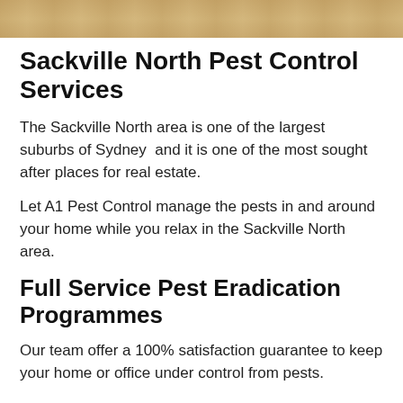[Figure (photo): Wooden table surface — partial image strip at the top of the page]
Sackville North Pest Control Services
The Sackville North area is one of the largest suburbs of Sydney  and it is one of the most sought after places for real estate.
Let A1 Pest Control manage the pests in and around your home while you relax in the Sackville North area.
Full Service Pest Eradication Programmes
Our team offer a 100% satisfaction guarantee to keep your home or office under control from pests.